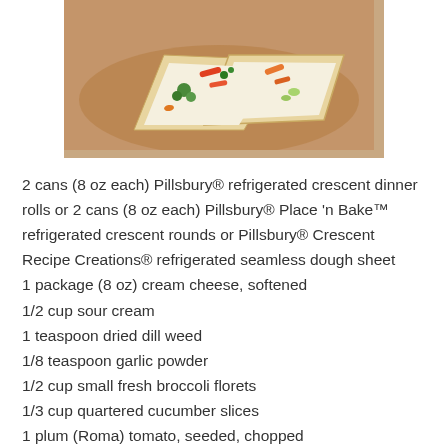[Figure (photo): Overhead photo of crescent roll pizza appetizers with vegetables on a wooden board]
2 cans (8 oz each) Pillsbury® refrigerated crescent dinner rolls or 2 cans (8 oz each) Pillsbury® Place 'n Bake™ refrigerated crescent rounds or Pillsbury® Crescent Recipe Creations® refrigerated seamless dough sheet
1 package (8 oz) cream cheese, softened
1/2 cup sour cream
1 teaspoon dried dill weed
1/8 teaspoon garlic powder
1/2 cup small fresh broccoli florets
1/3 cup quartered cucumber slices
1 plum (Roma) tomato, seeded, chopped
1/4 cup shredded carrot
DIRECTIONS